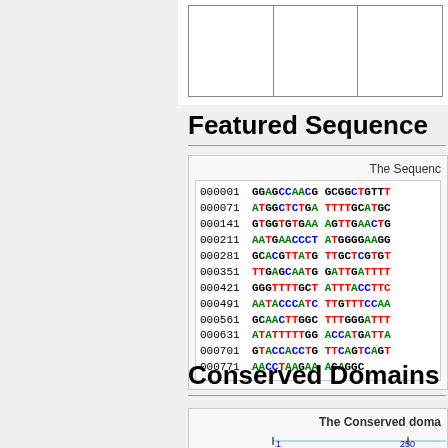|  |  |  |
Featured Sequence
The Sequence
000001 GGAGCCAACG GCGGCTGTTT
000071 ATGGCTCTGA TTTTGCATGC
000141 GTGGTGTGAA AGTTGAACTG
000211 AATGAACCCT ATGGGGAAGG
000281 GCACGTTATG TTGCTCGTGT
000351 TTGAGCAATG GATTGATTTT
000421 GGGTTTTTGCT ATTTACCTTC
000491 AATACCCATC TTGTTTCCAA
000561 GCAACTTGGC TTTGGGATTT
000631 ATATTTTTGG ACCATGATTA
000701 GTACCACCTG TTCAGTCAGT
000771 AACCTAAGAA AGAGGC
Conserved Domains
The Conserved doma...